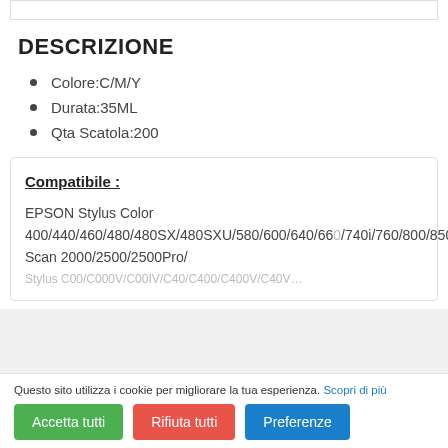DESCRIZIONE
Colore:C/M/Y
Durata:35ML
Qta Scatola:200
Compatibile :
EPSON Stylus Color 400/440/460/480/480SX/480SXU/580/600/640/660/740i/760/800/850/850N/850Ne/860/1160/1520/1520 Scan 2000/2500/2500Pro/
Questo sito utilizza i cookie per migliorare la tua esperienza. Scopri di più
Accetta tutti
Rifiuta tutti
Preferenze